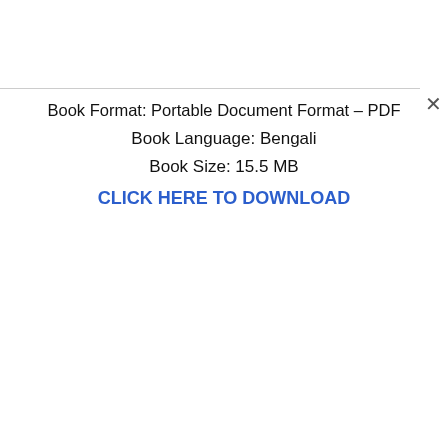Book Format: Portable Document Format – PDF
Book Language: Bengali
Book Size: 15.5 MB
CLICK HERE TO DOWNLOAD